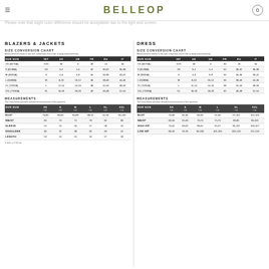BELLEOP
Please note that slight color difference should be acceptable due to the light and screen.
BLAZERS & JACKETS
SIZE CONVERSION CHART
Measurements shown in the size conversion chart refer to body measurements.
| OUR SIZE | INT | US | UK | FR | EU | IT |
| --- | --- | --- | --- | --- | --- | --- |
| XS (60/76A) | XXS | 00 | 0 | 30 | 24 | 34 |
| S (65/80A) | XS | 0-2 | 2-4 | 32 | 30-32 | 36-38 |
| M (60/84A) | S | 4-6 | 6-8 | 34 | 34-36 | 40-42 |
| L (65/88A) | M | 8-10 | 10-12 | 36 | 38-40 | 44-46 |
| XL (70/92A) | L | 12-14 | 14-16 | 38 | 42-44 | 48-50 |
| 2XL (75/96A) | XL | 16-18 | 18-20 | 40 | 46-48 | 52-54 |
MEASUREMENTS
The chart below provides detailed measurements of this garment.
| OUR SIZE | XS | S | M | L | XL | XXL |
| --- | --- | --- | --- | --- | --- | --- |
| BUST | 76-80 | 80-84 | 84-88 | 88-92 | 92-96 | 96-100 |
| WAIST | 66 | 70 | 74 | 78 | 82 | 86 |
| SLEEVE | 54 | 55 | 56 | 57 | 58 | 59 |
| SHOULDER | 36 | 37 | 38 | 39 | 40 | 41 |
| LENGTH | 53 | 54 | 55 | 56 | 57 | 58 |
1 inch = 2.54 cm
DRESS
SIZE CONVERSION CHART
Measurements shown in the size conversion chart refer to body measurements.
| OUR SIZE | INT | US | UK | FR | EU | IT |
| --- | --- | --- | --- | --- | --- | --- |
| XS (60/76A) | XXS | 00 | 0 | 30 | 28 | 34 |
| S (65/80A) | XS | 0-2 | 2-4 | 32 | 30-32 | 36-38 |
| M (60/84A) | S | 4-6 | 6-8 | 34 | 34-36 | 40-42 |
| L (65/88A) | M | 8-10 | 10-12 | 36 | 38-40 | 44-46 |
| XL (70/92A) | L | 12-14 | 14-16 | 38 | 42-44 | 48-50 |
| 2XL (75/96A) | XL | 16-18 | 18-20 | 40 | 46-48 | 52-54 |
MEASUREMENTS
The chart below provides detailed measurements of this garment.
| OUR SIZE | XS | S | M | L | XL | XXL |
| --- | --- | --- | --- | --- | --- | --- |
| BUST | 76-80 | 81-85 | 86-90 | 91-96 | 97-101 | 102-106 |
| WAIST | 60-64 | 65-69 | 70-74 | 75-79 | 80-85 | 86-101 |
| HIGH HIP | 76-82 | 83-87 | 88-92 | 95-97 | 98-102 | 103-107 |
| LOW HIP | 86-90 | 91-95 | 96-100 | 101-105 | 105-110 | 111-116 |